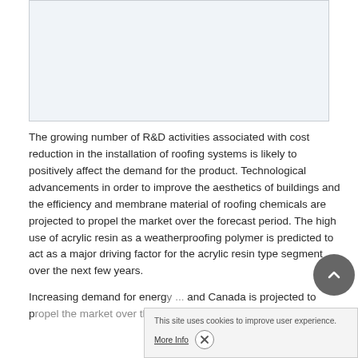[Figure (other): Blank placeholder image box with light blue-gray background and gray border]
The growing number of R&D activities associated with cost reduction in the installation of roofing systems is likely to positively affect the demand for the product. Technological advancements in order to improve the aesthetics of buildings and the efficiency and membrane material of roofing chemicals are projected to propel the market over the forecast period. The high use of acrylic resin as a weatherproofing polymer is predicted to act as a major driving factor for the acrylic resin type segment over the next few years.
Increasing demand for energy... and Canada is projected to propel the market over the